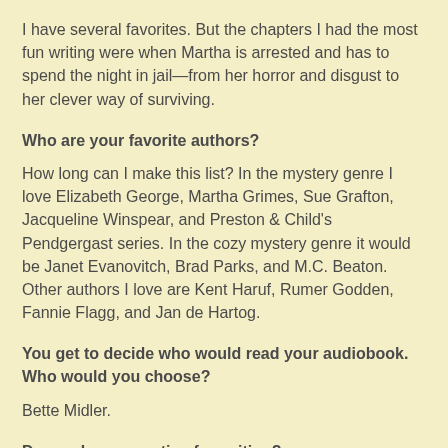I have several favorites. But the chapters I had the most fun writing were when Martha is arrested and has to spend the night in jail—from her horror and disgust to her clever way of surviving.
Who are your favorite authors?
How long can I make this list? In the mystery genre I love Elizabeth George, Martha Grimes, Sue Grafton, Jacqueline Winspear, and Preston & Child's Pendgergast series. In the cozy mystery genre it would be Janet Evanovitch, Brad Parks, and M.C. Beaton. Other authors I love are Kent Haruf, Rumer Godden, Fannie Flagg, and Jan de Hartog.
You get to decide who would read your audiobook. Who would you choose?
Bette Midler.
Do you have a routine for writing?